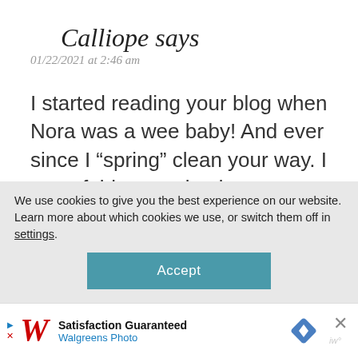Calliope says
01/22/2021 at 2:46 am
I started reading your blog when Nora was a wee baby! And ever since I “spring” clean your way. I am a fairly organised person myself and I always enjoy the process of cleaning my house but oh my lord…the
We use cookies to give you the best experience on our website.
Learn more about which cookies we use, or switch them off in settings.
Accept
[Figure (screenshot): Walgreens Photo advertisement bar at the bottom with logo, 'Satisfaction Guaranteed', Walgreens Photo text, navigation icon, and close button]